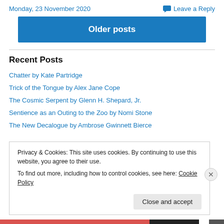Monday, 23 November 2020
Leave a Reply
Older posts
Recent Posts
Chatter by Kate Partridge
Trick of the Tongue by Alex Jane Cope
The Cosmic Serpent by Glenn H. Shepard, Jr.
Sentience as an Outing to the Zoo by Nomi Stone
The New Decalogue by Ambrose Gwinnett Bierce
Privacy & Cookies: This site uses cookies. By continuing to use this website, you agree to their use. To find out more, including how to control cookies, see here: Cookie Policy
Close and accept